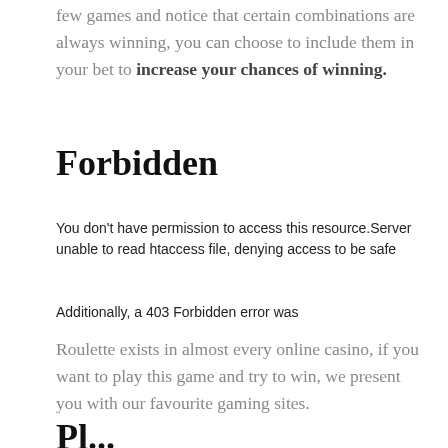few games and notice that certain combinations are always winning, you can choose to include them in your bet to increase your chances of winning.
Forbidden
You don't have permission to access this resource.Server unable to read htaccess file, denying access to be safe
Additionally, a 403 Forbidden error was
Roulette exists in almost every online casino, if you want to play this game and try to win, we present you with our favourite gaming sites.
Pl...